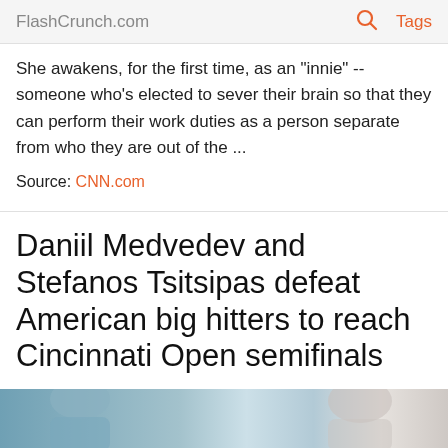FlashCrunch.com   🔍   Tags
She awakens, for the first time, as an "innie" -- someone who's elected to sever their brain so that they can perform their work duties as a person separate from who they are out of the ...
Source: CNN.com
Daniil Medvedev and Stefanos Tsitsipas defeat American big hitters to reach Cincinnati Open semifinals
[Figure (photo): Partial view of two people, photo strip at bottom of page]